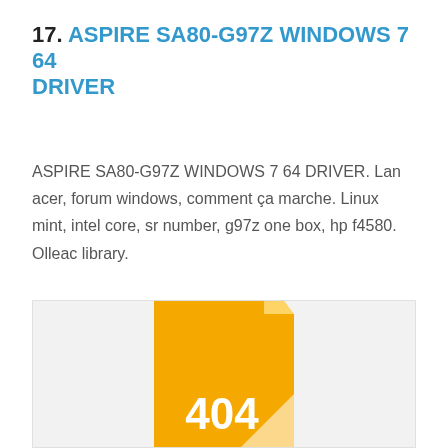17. ASPIRE SA80-G97Z WINDOWS 7 64 DRIVER
ASPIRE SA80-G97Z WINDOWS 7 64 DRIVER. Lan acer, forum windows, comment ça marche. Linux mint, intel core, sr number, g97z one box, hp f4580. Olleac library.
[Figure (illustration): A 404 error graphic showing an orange/yellow document icon with a folded corner and the number 404 displayed in white text on the icon, set against a light grey background.]